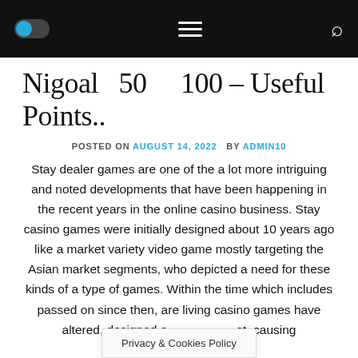[Navigation bar with toggle switch, hamburger menu, and search icon]
Nigoal 50 100 – Useful Points..
POSTED ON AUGUST 14, 2022 BY ADMIN10
Stay dealer games are one of the a lot more intriguing and noted developments that have been happening in the recent years in the online casino business. Stay casino games were initially designed about 10 years ago like a market variety video game mostly targeting the Asian market segments, who depicted a need for these kinds of a type of games. Within the time which includes passed on since then, are living casino games have altered, designed a lot, causing
Privacy & Cookies Policy